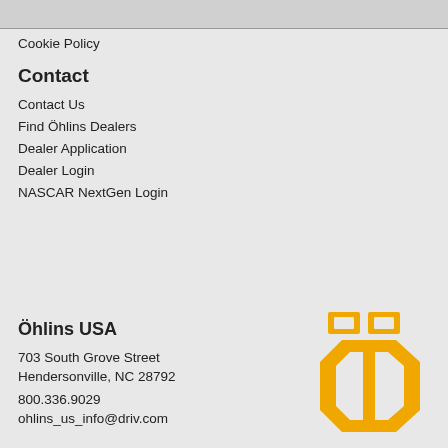Cookie Policy
Contact
Contact Us
Find Öhlins Dealers
Dealer Application
Dealer Login
NASCAR NextGen Login
Öhlins USA
703 South Grove Street
Hendersonville, NC 28792

800.336.9029
ohlins_us_info@driv.com
[Figure (logo): Öhlins logo — a bold golden letter Ö with two gold squares above representing the umlaut dots, outlined in white, on a light grey background.]